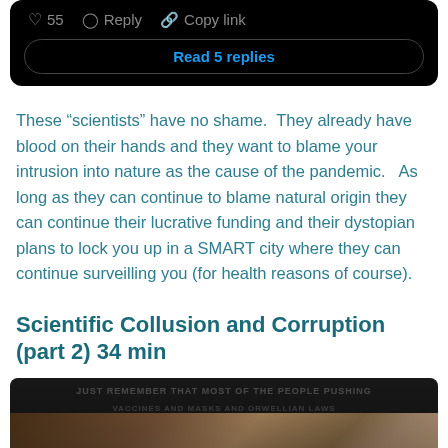[Figure (screenshot): Twitter/social media card with dark background showing action bar with heart icon, 55 likes, Reply button, Copy link button, and a 'Read 5 replies' button]
These “scientists” have no shame.  They already have blood on their hands and they want to blame your intrusion into nature as the cause of the pandemic.   As long as they can continue to blame natural origin they can continue their lucrative funding and their dystopian plans to lock you up in a SMART city where they can continue surveilling you (for health reasons of course).
Scientific Collusion and Corruption (part 2) 34 min
[Figure (screenshot): Video thumbnail from Odysee showing 'Scientific Collusion an...' title with Odysee logo, background shows faded text about people pushing agendas, and a man's face at the bottom]